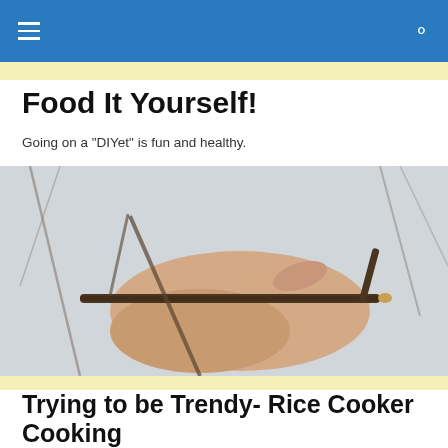Food It Yourself! — navigation bar with hamburger menu and search icon
Food It Yourself!
Going on a "DIYet" is fun and healthy.
[Figure (photo): Close-up of a hand holding a cut twig or branch with snow-blurred background and other bare branches visible.]
Trying to be Trendy- Rice Cooker Cooking
I'm not a big fan of trends when it comes to clothes,